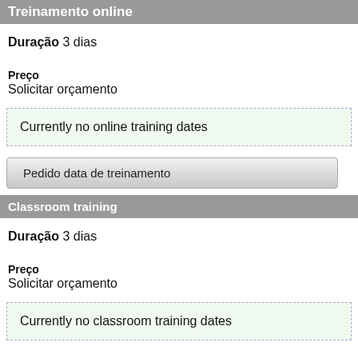Treinamento online
Duração 3 dias
Preço
Solicitar orçamento
Currently no online training dates
Pedido data de treinamento
Classroom training
Duração 3 dias
Preço
Solicitar orçamento
Currently no classroom training dates